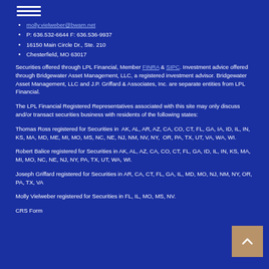[Figure (other): Hamburger menu icon with three horizontal white lines]
molly.vielweber@bwam.net
P: 636.532-6644  F: 636.536-9937
16150 Main Circle Dr., Ste. 210
Chesterfield, MO 63017
Securities offered through LPL Financial, Member FINRA & SIPC. Investment advice offered through Bridgewater Asset Management, LLC, a registered investment advisor. Bridgewater Asset Management, LLC and J.P. Griffard & Associates, Inc. are separate entities from LPL Financial.
The LPL Financial Registered Representatives associated with this site may only discuss and/or transact securities business with residents of the following states:
Thomas Ross registered for Securities in  AK, AL, AR, AZ, CA, CO, CT, FL, GA, IA, ID, IL, IN, KS, MA, MD, ME, MI, MO, MS, NC, NE, NJ, NM, NV, NY,  OR, PA, TX, UT, VA, WA, WI.
Robert Balice registered for Securities in AK, AL, AZ, CA, CO, CT, FL, GA, ID, IL, IN, KS, MA, MI, MO, NC, NE, NJ, NY, PA, TX, UT, WA, WI.
Joseph Griffard registered for Securities in AR, CA, CT, FL, GA, IL, MD, MO, NJ, NM, NY, OR, PA, TX, VA
Molly Vielweber registered for Securities in FL, IL, MO, MS, NV.
CRS Form